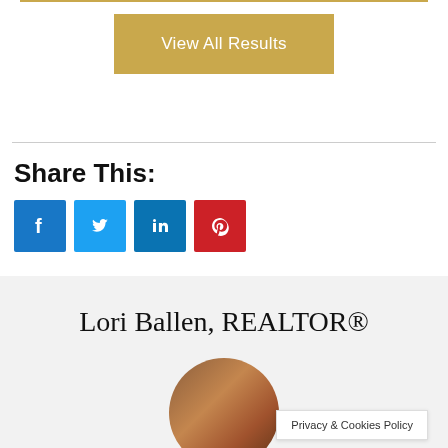View All Results
Share This:
[Figure (illustration): Four social media share buttons: Facebook (blue), Twitter (light blue), LinkedIn (dark blue), Pinterest (red), each showing their respective icons]
Lori Ballen, REALTOR®
[Figure (photo): Circular avatar photo of Lori Ballen, partially visible at the bottom]
Privacy & Cookies Policy